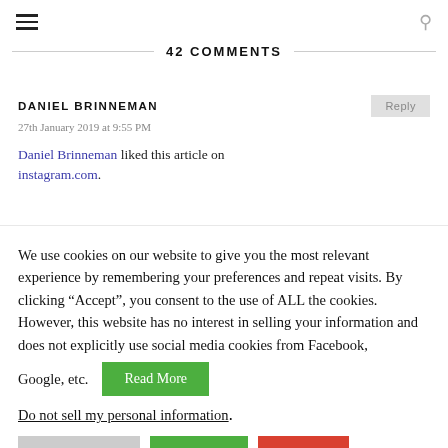42 COMMENTS
DANIEL BRINNEMAN
27th January 2019 at 9:55 PM
Daniel Brinneman liked this article on instagram.com.
We use cookies on our website to give you the most relevant experience by remembering your preferences and repeat visits. By clicking “Accept”, you consent to the use of ALL the cookies. However, this website has no interest in selling your information and does not explicitly use social media cookies from Facebook, Google, etc.
Do not sell my personal information.